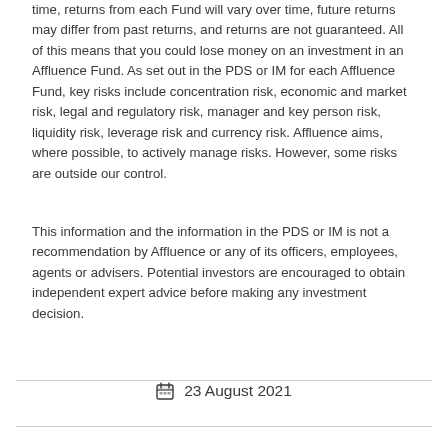time, returns from each Fund will vary over time, future returns may differ from past returns, and returns are not guaranteed. All of this means that you could lose money on an investment in an Affluence Fund. As set out in the PDS or IM for each Affluence Fund, key risks include concentration risk, economic and market risk, legal and regulatory risk, manager and key person risk, liquidity risk, leverage risk and currency risk. Affluence aims, where possible, to actively manage risks. However, some risks are outside our control.
This information and the information in the PDS or IM is not a recommendation by Affluence or any of its officers, employees, agents or advisers. Potential investors are encouraged to obtain independent expert advice before making any investment decision.
23 August 2021